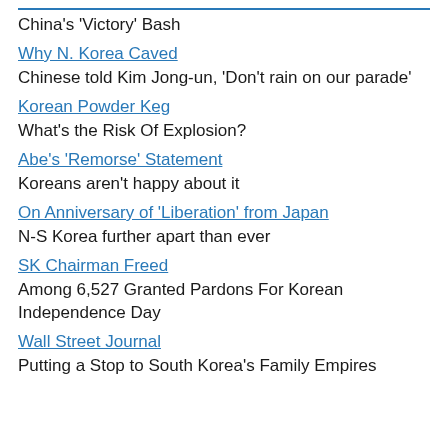China's 'Victory' Bash
Why N. Korea Caved
Chinese told Kim Jong-un, 'Don't rain on our parade'
Korean Powder Keg
What's the Risk Of Explosion?
Abe's 'Remorse' Statement
Koreans aren't happy about it
On Anniversary of 'Liberation' from Japan
N-S Korea further apart than ever
SK Chairman Freed
Among 6,527 Granted Pardons For Korean Independence Day
Wall Street Journal
Putting a Stop to South Korea's Family Empires